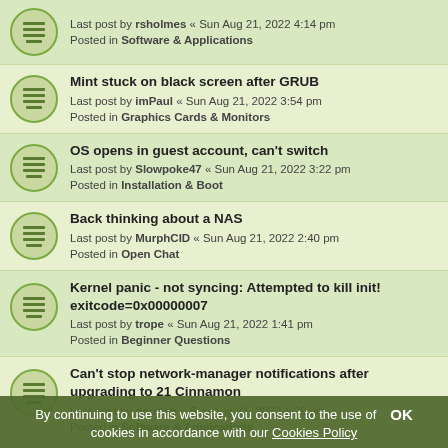Last post by rsholmes « Sun Aug 21, 2022 4:14 pm
Posted in Software & Applications
Mint stuck on black screen after GRUB
Last post by imPaul « Sun Aug 21, 2022 3:54 pm
Posted in Graphics Cards & Monitors
OS opens in guest account, can't switch
Last post by Slowpoke47 « Sun Aug 21, 2022 3:22 pm
Posted in Installation & Boot
Back thinking about a NAS
Last post by MurphCID « Sun Aug 21, 2022 2:40 pm
Posted in Open Chat
Kernel panic - not syncing: Attempted to kill init! exitcode=0x00000007
Last post by trope « Sun Aug 21, 2022 1:41 pm
Posted in Beginner Questions
Can't stop network-manager notifications after upgrading to 21 Cinnamon
Last post by doodah « Sun Aug 21, 2022 1:29 pm
Posted in Software & Applications
uPGRADE ISSUES
Last post by malstan65 « Sun Aug 21, 2022 1:27 pm
Posted in Beginner Questions
Disparition de mon tableau de bord Linux Mint 5 après avoir installé les mises à jours
By continuing to use this website, you consent to the use of cookies in accordance with our Cookies Policy
OK